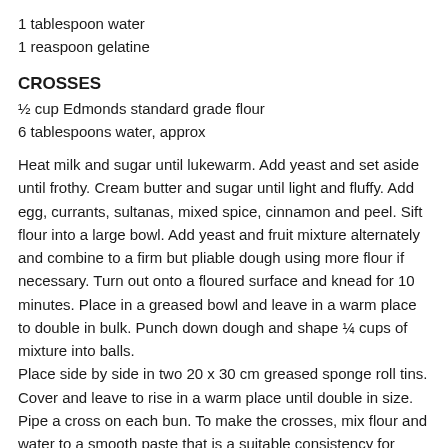1 tablespoon water
1 reaspoon gelatine
CROSSES
½ cup Edmonds standard grade flour
6 tablespoons water, approx
Heat milk and sugar until lukewarm. Add yeast and set aside until frothy. Cream butter and sugar until light and fluffy. Add egg, currants, sultanas, mixed spice, cinnamon and peel. Sift flour into a large bowl. Add yeast and fruit mixture alternately and combine to a firm but pliable dough using more flour if necessary. Turn out onto a floured surface and knead for 10 minutes. Place in a greased bowl and leave in a warm place to double in bulk. Punch down dough and shape ¼ cups of mixture into balls.
Place side by side in two 20 x 30 cm greased sponge roll tins. Cover and leave to rise in a warm place until double in size.
Pipe a cross on each bun. To make the crosses, mix flour and water to a smooth paste that is a suitable consistency for piping. Place mixture in a small plastic bag. Snip across